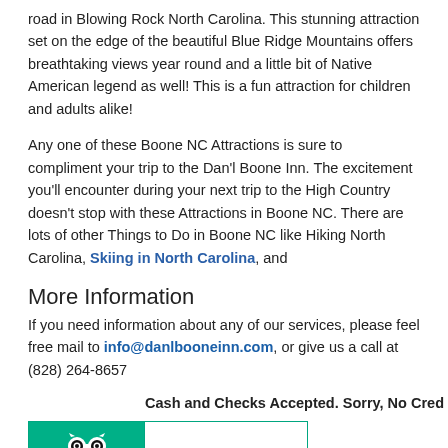road in Blowing Rock North Carolina. This stunning attraction set on the edge of the beautiful Blue Ridge Mountains offers breathtaking views year round and a little bit of Native American legend as well! This is a fun attraction for children and adults alike!
Any one of these Boone NC Attractions is sure to compliment your trip to the Dan'l Boone Inn. The excitement you'll encounter during your next trip to the High Country doesn't stop with these Attractions in Boone NC. There are lots of other Things to Do in Boone NC like Hiking North Carolina, Skiing in North Carolina, and
More Information
If you need information about any of our services, please feel free mail to info@danlbooneinn.com, or give us a call at (828) 264-8657
Cash and Checks Accepted. Sorry, No Cred
[Figure (logo): Tripadvisor widget with green background on left showing owl logo and Tripadvisor text, and white panel on right with teal border.]